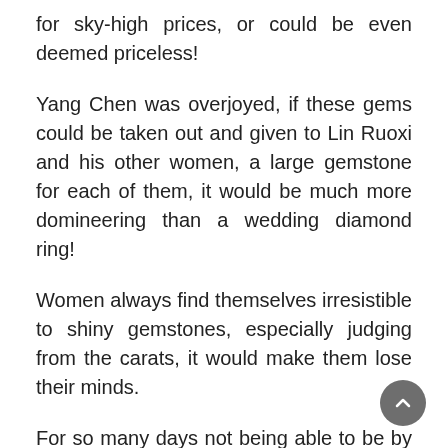for sky-high prices, or could be even deemed priceless!
Yang Chen was overjoyed, if these gems could be taken out and given to Lin Ruoxi and his other women, a large gemstone for each of them, it would be much more domineering than a wedding diamond ring!
Women always find themselves irresistible to shiny gemstones, especially judging from the carats, it would make them lose their minds.
For so many days not being able to be by their side, they must be frightened. He should send a